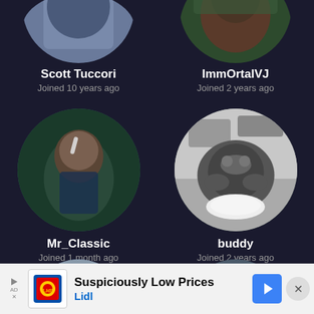[Figure (photo): Circular avatar photo of Scott Tuccori (partially cropped at top)]
[Figure (photo): Circular avatar photo of ImmOrtalVJ (partially cropped at top)]
Scott Tuccori
Joined 10 years ago
ImmOrtalVJ
Joined 2 years ago
[Figure (photo): Circular avatar photo of Mr_Classic — man in dark costume smoking]
[Figure (photo): Circular avatar photo of buddy — raccoon eating from bowl]
Mr_Classic
Joined 1 month ago
buddy
Joined 2 years ago
[Figure (photo): Circular avatar photo partially cropped at bottom, left column]
[Figure (photo): Circular avatar photo partially cropped at bottom, right column]
[Figure (other): Advertisement banner: Suspiciously Low Prices — Lidl, with logo, arrow icon, and close button]